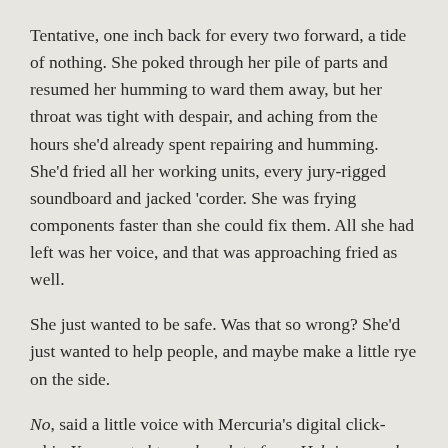Tentative, one inch back for every two forward, a tide of nothing. She poked through her pile of parts and resumed her humming to ward them away, but her throat was tight with despair, and aching from the hours she'd already spent repairing and humming. She'd fried all her working units, every jury-rigged soundboard and jacked 'corder. She was frying components faster than she could fix them. All she had left was her voice, and that was approaching fried as well.
She just wanted to be safe. Was that so wrong? She'd just wanted to help people, and maybe make a little rye on the side.
No, said a little voice with Mercuria's digital click-whir, You wanted to make a lot of rye. Helping people was a lie you told yourself.